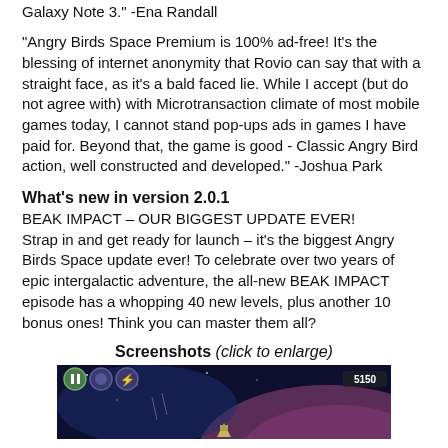Galaxy Note 3." -Ena Randall
"Angry Birds Space Premium is 100% ad-free! It's the blessing of internet anonymity that Rovio can say that with a straight face, as it's a bald faced lie. While I accept (but do not agree with) with Microtransaction climate of most mobile games today, I cannot stand pop-ups ads in games I have paid for. Beyond that, the game is good - Classic Angry Bird action, well constructed and developed." -Joshua Park
What's new in version 2.0.1
BEAK IMPACT – OUR BIGGEST UPDATE EVER!
Strap in and get ready for launch – it's the biggest Angry Birds Space update ever! To celebrate over two years of epic intergalactic adventure, the all-new BEAK IMPACT episode has a whopping 40 new levels, plus another 10 bonus ones! Think you can master them all?
Screenshots (click to enlarge)
[Figure (screenshot): Screenshot of Angry Birds Space game showing space environment with planet surface, game UI with pause/bird icons in top left and score 5150 in top right, spacecraft visible]